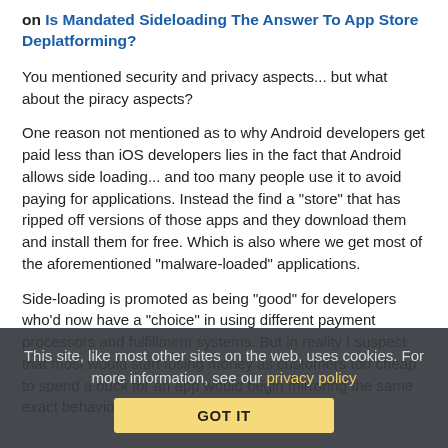on Is Mandated Sideloading The Answer To App Store Deplatforming?
You mentioned security and privacy aspects... but what about the piracy aspects?
One reason not mentioned as to why Android developers get paid less than iOS developers lies in the fact that Android allows side loading... and too many people use it to avoid paying for applications. Instead the find a "store" that has ripped off versions of those apps and they download them and install them for free. Which is also where we get most of the aforementioned "malware-loaded" applications.
Side-loading is promoted as being "good" for developers who'd now have a "choice" in using different payment processors and fulfillment systems. But in reality I suspect that most would start losing money as customers too cheap to spend a buck for an app would begin mirroring the same exact behaviors we see on Android.
This site, like most other sites on the web, uses cookies. For more information, see our privacy policy
GOT IT